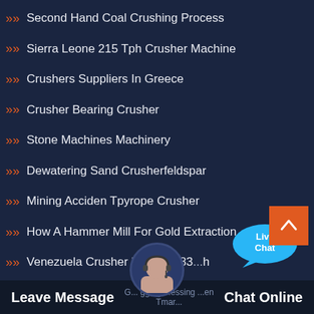Second Hand Coal Crushing Process
Sierra Leone 215 Tph Crusher Machine
Crushers Suppliers In Greece
Crusher Bearing Crusher
Stone Machines Machinery
Dewatering Sand Crusherfeldspar
Mining Acciden Tpyrope Crusher
How A Hammer Mill For Gold Extraction
Venezuela Crusher Machine 83...h
[Figure (illustration): Live Chat speech bubble icon in blue]
[Figure (illustration): Scroll to top orange button with upward caret]
[Figure (illustration): Customer service avatar photo circle]
Leave Message   G... gg...g ...essing ...en Tmar...   Chat Online